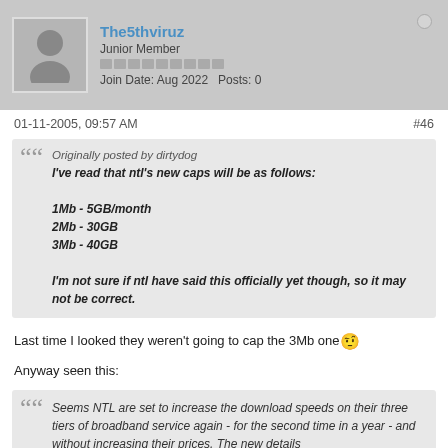The5thviruz | Junior Member | Join Date: Aug 2022 | Posts: 0
01-11-2005, 09:57 AM  #46
Originally posted by dirtydog
I've read that ntl's new caps will be as follows:

1Mb - 5GB/month
2Mb - 30GB
3Mb - 40GB

I'm not sure if ntl have said this officially yet though, so it may not be correct.
Last time I looked they weren't going to cap the 3Mb one 🤔
Anyway seen this:
Seems NTL are set to increase the download speeds on their three tiers of broadband service again - for the second time in a year - and without increasing their prices. The new details